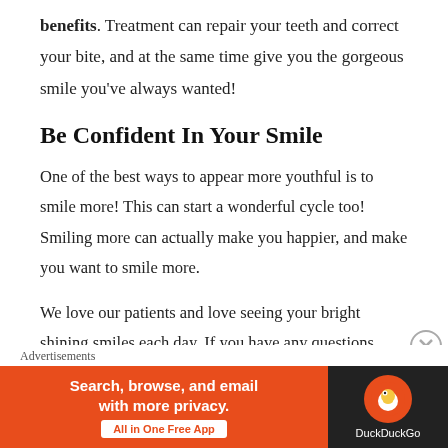benefits. Treatment can repair your teeth and correct your bite, and at the same time give you the gorgeous smile you've always wanted!
Be Confident In Your Smile
One of the best ways to appear more youthful is to smile more! This can start a wonderful cycle too! Smiling more can actually make you happier, and make you want to smile more.
We love our patients and love seeing your bright shining smiles each day. If you have any questions about how we can give you a healthier, more beautiful smile, give us a call and set an appointment to visit our
Advertisements
[Figure (screenshot): DuckDuckGo advertisement banner: orange left panel with text 'Search, browse, and email with more privacy. All in One Free App' and dark right panel with DuckDuckGo logo]